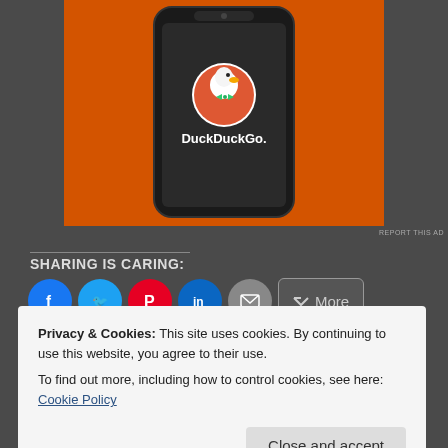[Figure (screenshot): DuckDuckGo advertisement showing the DuckDuckGo logo on a smartphone with an orange background]
SHARING IS CARING:
[Figure (screenshot): Social sharing buttons: Facebook, Twitter, Pinterest, LinkedIn, Email, and More]
[Figure (screenshot): Like button widget]
71 bloggers like this.
Privacy & Cookies: This site uses cookies. By continuing to use this website, you agree to their use.
To find out more, including how to control cookies, see here: Cookie Policy